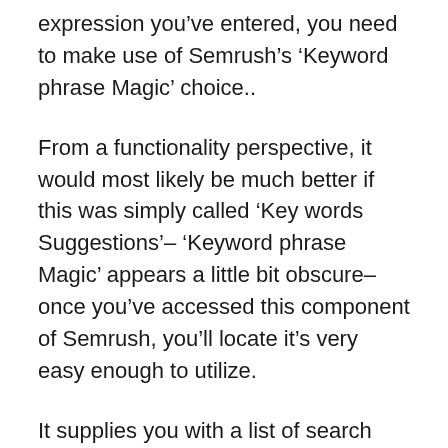expression you’ve entered, you need to make use of Semrush’s ‘Keyword phrase Magic’ choice..
From a functionality perspective, it would most likely be much better if this was simply called ‘Key words Suggestions’– ‘Keyword phrase Magic’ appears a little bit obscure– once you’ve accessed this component of Semrush, you’ll locate it’s very easy enough to utilize.
It supplies you with a list of search phrases that relate to the expression you got in, in addition to filters that you can use to sort them, including:.
the keyword trouble